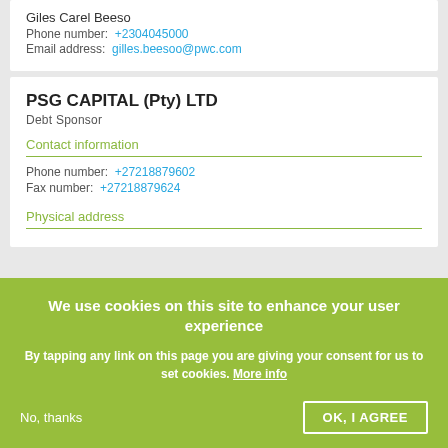Giles Carel Beeso
Phone number: +2304045000
Email address: gilles.beesoo@pwc.com
PSG CAPITAL (Pty) LTD
Debt Sponsor
Contact information
Phone number: +27218879602
Fax number: +27218879624
Physical address
We use cookies on this site to enhance your user experience
By tapping any link on this page you are giving your consent for us to set cookies. More info
No, thanks
OK, I AGREE